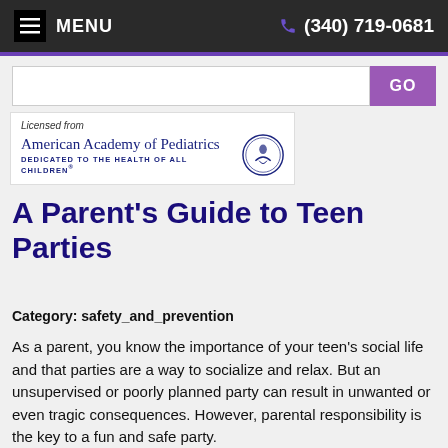≡ MENU   (340) 719-0681
[Figure (logo): American Academy of Pediatrics logo with seal. Licensed from American Academy of Pediatrics. Dedicated to the health of all children.]
A Parent's Guide to Teen Parties
Category: safety_and_prevention
As a parent, you know the importance of your teen's social life and that parties are a way to socialize and relax. But an unsupervised or poorly planned party can result in unwanted or even tragic consequences. However, parental responsibility is the key to a fun and safe party.